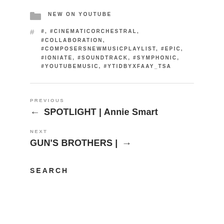NEW ON YOUTUBE
#, #CINEMATICORCHESTRAL, #COLLABORATION, #COMPOSERSNEWMUSICPLAYLIST, #EPIC, #IONIATE, #SOUNDTRACK, #SYMPHONIC, #YOUTUBEMUSIC, #YTIDBYXFAAY_TSA
PREVIOUS
← SPOTLIGHT | Annie Smart
NEXT
GUN'S BROTHERS | →
SEARCH